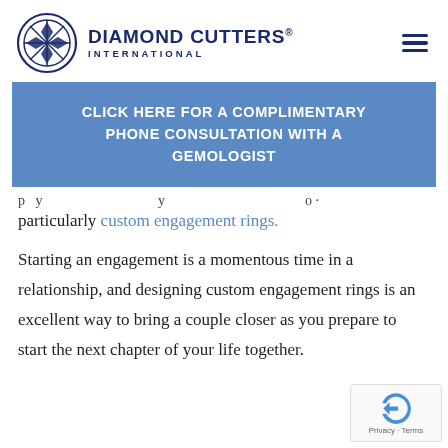[Figure (logo): Diamond Cutters International logo with circular geometric emblem and text]
CLICK HERE FOR A COMPLIMENTARY PHONE CONSULTATION WITH A GEMOLOGIST
particularly custom engagement rings.
Starting an engagement is a momentous time in a relationship, and designing custom engagement rings is an excellent way to bring a couple closer as you prepare to start the next chapter of your life together.